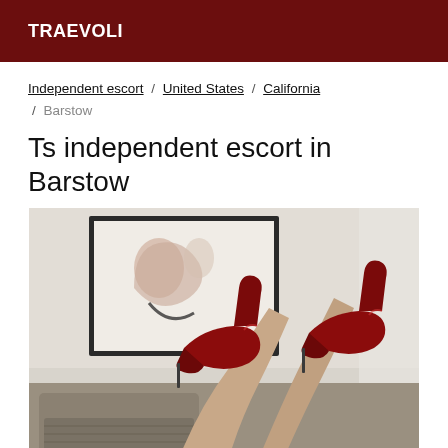TRAEVOLI
Independent escort / United States / California / Barstow
Ts independent escort in Barstow
[Figure (photo): Photo showing red high heels worn by a person reclining on a couch, with a framed artwork visible on the wall in the background.]